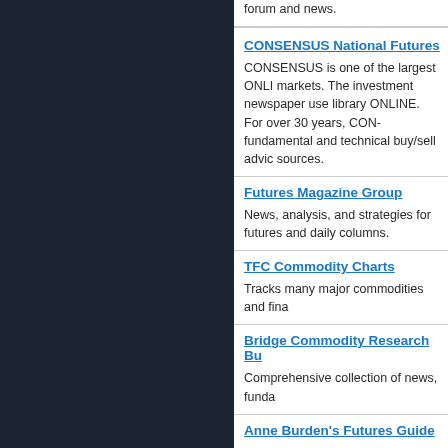forum and news.
CONSENSUS National Futures
CONSENSUS is one of the largest ONLINE markets. The investment newspaper use library ONLINE. For over 30 years, CONS fundamental and technical buy/sell advice sources.
Futures Magazine Group
News, analysis, and strategies for futures and daily columns.
TFC Commodity Charts
Tracks many major commodities and fina
Bridge Commodity Research Bu
Comprehensive collection of news, funda
Anne Burden's Futures Guide